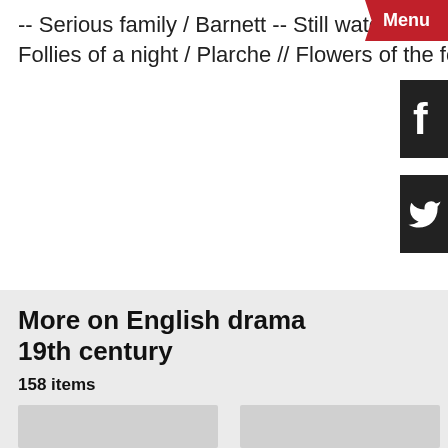-- Serious family / Barnett -- Still water runs deep / Taylor -- Friends or foes / Wigan -- Follies of a night / Plarche // Flowers of the forest / Buckstone.
More on English drama 19th century
158 items